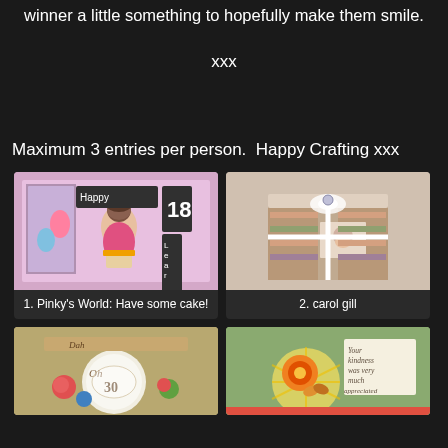winner a little something to hopefully make them smile.
xxx
Maximum 3 entries per person.  Happy Crafting xxx
[Figure (photo): Handmade birthday card with girl holding cake, number 18, pink and teal colors]
1. Pinky's World: Have some cake!
[Figure (photo): Handmade decorative box wrapped with white ribbon, scrapbook style]
2. carol gill
[Figure (photo): Vintage style mixed media artwork with roses and lace]
[Figure (photo): Handmade card with flowers and text 'Your kindness was very much appreciated']